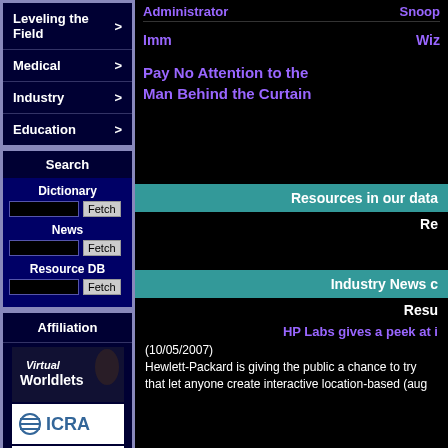Leveling the Field >
Medical >
Industry >
Education >
Search
Dictionary
News
Resource DB
Affiliation
[Figure (logo): Virtual Worldlets logo]
[Figure (logo): ICRA logo]
[Figure (logo): Lynx Inspected logo]
Administrator
Snoop
Imm
Wiz
Pay No Attention to the Man Behind the Curtain
Resources in our data
Re
Industry News c
Resu
HP Labs gives a peek at i
(10/05/2007)
Hewlett-Packard is giving the public a chance to try that let anyone create interactive location-based (aug